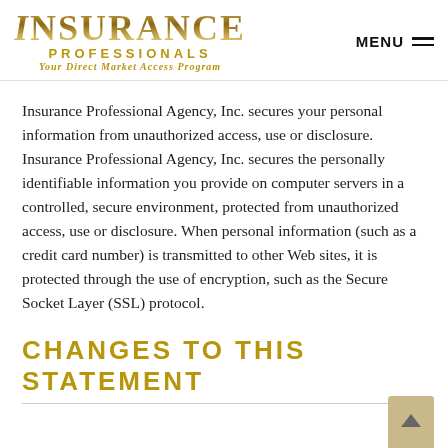INSURANCE PROFESSIONALS Your Direct Market Access Program | MENU
Insurance Professional Agency, Inc. secures your personal information from unauthorized access, use or disclosure. Insurance Professional Agency, Inc. secures the personally identifiable information you provide on computer servers in a controlled, secure environment, protected from unauthorized access, use or disclosure. When personal information (such as a credit card number) is transmitted to other Web sites, it is protected through the use of encryption, such as the Secure Socket Layer (SSL) protocol.
CHANGES TO THIS STATEMENT